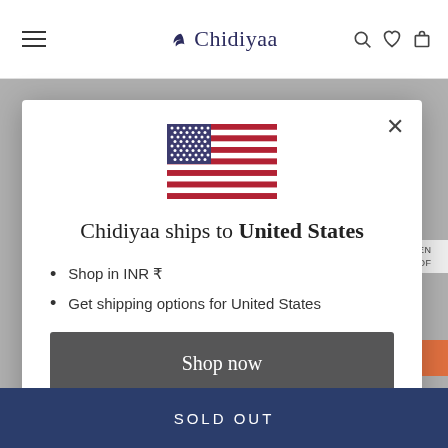Chidiyaa
[Figure (screenshot): US flag SVG illustration]
Chidiyaa ships to United States
Shop in INR ₹
Get shipping options for United States
Shop now
Change shipping country
SOLD OUT